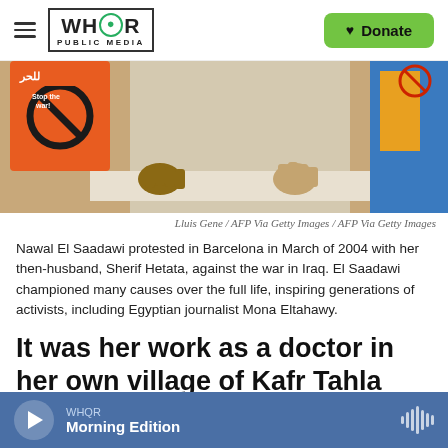WHQR PUBLIC MEDIA | Donate
[Figure (photo): Person in white clothing holding a banner at a protest, with orange signs visible in the background including a 'Stop the war!' sign]
Lluis Gene / AFP Via Getty Images / AFP Via Getty Images
Nawal El Saadawi protested in Barcelona in March of 2004 with her then-husband, Sherif Hetata, against the war in Iraq. El Saadawi championed many causes over the full life, inspiring generations of activists, including Egyptian journalist Mona Eltahawy.
It was her work as a doctor in her own village of Kafr Tahla that allowed her to witness the
WHQR Morning Edition